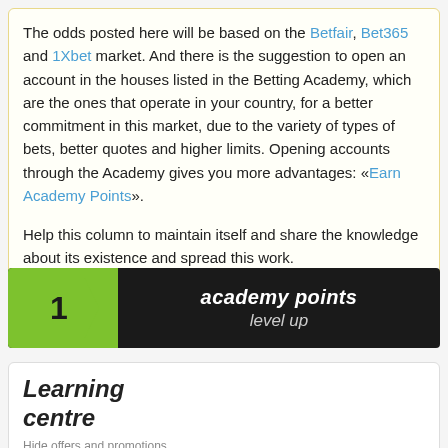The odds posted here will be based on the Betfair, Bet365 and 1Xbet market. And there is the suggestion to open an account in the houses listed in the Betting Academy, which are the ones that operate in your country, for a better commitment in this market, due to the variety of types of bets, better quotes and higher limits. Opening accounts through the Academy gives you more advantages: «Earn Academy Points».
Help this column to maintain itself and share the knowledge about its existence and spread this work.
[Figure (infographic): Academy points level up banner. Green arrow/chevron badge with number 1 on left, black background with text 'academy points' and 'level up' in white italic.]
Learning centre
Hide offers and promotions